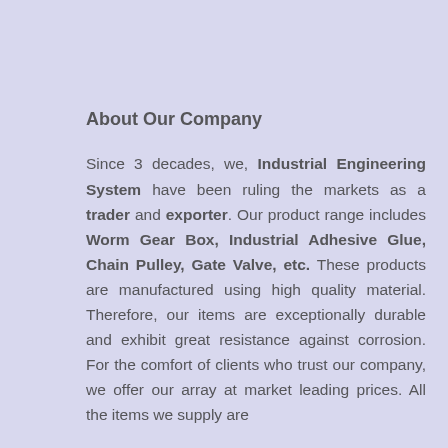About Our Company
Since 3 decades, we, Industrial Engineering System have been ruling the markets as a trader and exporter. Our product range includes Worm Gear Box, Industrial Adhesive Glue, Chain Pulley, Gate Valve, etc. These products are manufactured using high quality material. Therefore, our items are exceptionally durable and exhibit great resistance against corrosion. For the comfort of clients who trust our company, we offer our array at market leading prices. All the items we supply are